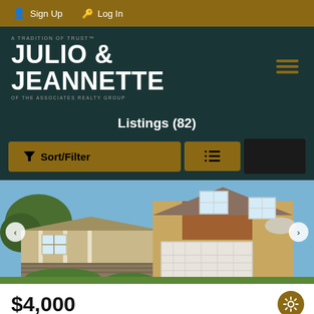Sign Up  Log In
[Figure (logo): Julio & Jeannette of the Associates Realty Group logo on dark teal background with hamburger menu icon]
Listings (82)
Sort/Filter  [list view button]
[Figure (photo): Exterior photo of a two-story tan/beige house with white garage door, front porch with columns, and stone accents under a blue sky]
$4,000
7858 Spring Hill Street